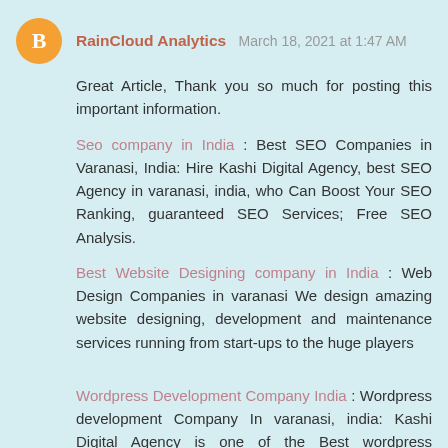RainCloud Analytics  March 18, 2021 at 1:47 AM
Great Article, Thank you so much for posting this important information.
Seo company in India : Best SEO Companies in Varanasi, India: Hire Kashi Digital Agency, best SEO Agency in varanasi, india, who Can Boost Your SEO Ranking, guaranteed SEO Services; Free SEO Analysis.
Best Website Designing company in India : Web Design Companies in varanasi We design amazing website designing, development and maintenance services running from start-ups to the huge players
Wordpress Development Company India : Wordpress development Company In varanasi, india: Kashi Digital Agency is one of the Best wordpress developer companies in varanasi, india. Ranked among the Top website designing agencies in varanasi, india. wordpress website